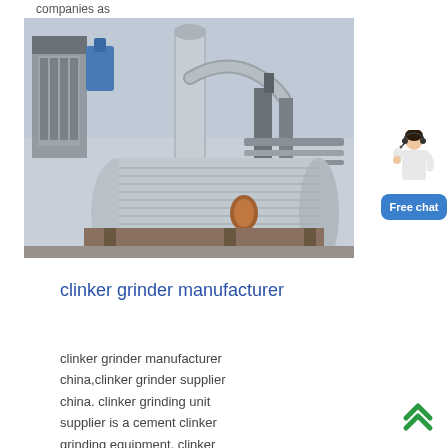companies as
[Figure (photo): Industrial cement or chemical plant facility with large silver cylindrical grinding mill in foreground, metal pipes, silos, and industrial structures in background under hazy sky.]
[Figure (illustration): Female avatar customer service representative with headset, pointing gesture, next to a blue 'Free chat' button.]
clinker grinder manufacturer
clinker grinder manufacturer china,clinker grinder supplier china. clinker grinding unit supplier is a cement clinker grinding equipment. clinker
[Figure (other): Green double chevron/arrow scroll-to-top button.]